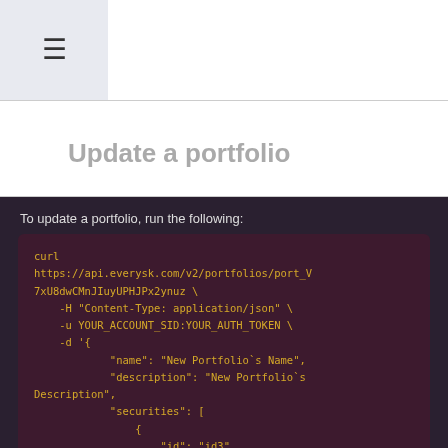≡
Update a portfolio
To update a portfolio, run the following:
curl https://api.everysk.com/v2/portfolios/port_V7xU8dwCMnJIuyUPHJPx2ynuz \
    -H "Content-Type: application/json" \
    -u YOUR_ACCOUNT_SID:YOUR_AUTH_TOKEN \
    -d '{
            "name": "New Portfolio`s Name",
            "description": "New Portfolio`s Description",
            "securities": [
                {
                    "id": "id3",
                    "symbol": "NFLX",